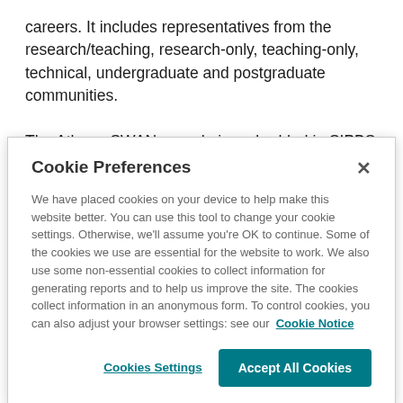careers. It includes representatives from the research/teaching, research-only, teaching-only, technical, undergraduate and postgraduate communities.
The Athena SWAN agenda is embedded in SIPBS business at various levels; within the Institute Management Group, Social Events Group, Staff/Student Liaison committee, Graduate
Cookie Preferences
We have placed cookies on your device to help make this website better. You can use this tool to change your cookie settings. Otherwise, we'll assume you're OK to continue. Some of the cookies we use are essential for the website to work. We also use some non-essential cookies to collect information for generating reports and to help us improve the site. The cookies collect information in an anonymous form. To control cookies, you can also adjust your browser settings: see our Cookie Notice